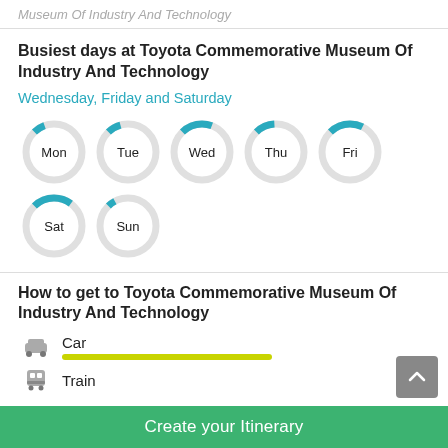Museum Of Industry And Technology
Busiest days at Toyota Commemorative Museum Of Industry And Technology
Wednesday, Friday and Saturday
[Figure (donut-chart): Seven donut charts showing busyness for each day of the week: Mon, Tue, Wed, Thu, Fri, Sat, Sun. Wed, Fri, Sat appear most filled (busiest).]
How to get to Toyota Commemorative Museum Of Industry And Technology
Car
Train
Create your Itinerary